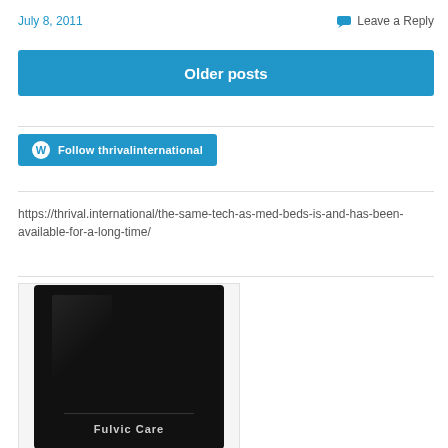July 8, 2011
Leave a Reply
Older posts
[Figure (logo): WordPress Follow button: Follow thrivalinternational]
https://thrival.international/the-same-tech-as-med-beds-is-and-has-been-available-for-a-long-time/
[Figure (photo): Black product bag with 'Fulvic Care' label on a white background]